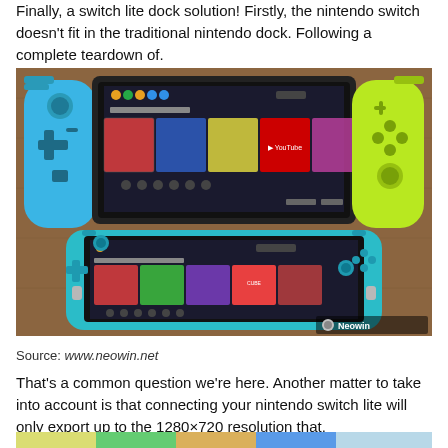Finally, a switch lite dock solution! Firstly, the nintendo switch doesn't fit in the traditional nintendo dock. Following a complete teardown of.
[Figure (photo): Photo comparing a Nintendo Switch (top, with blue and neon-yellow Joy-Cons) and a Nintendo Switch Lite (bottom, in teal) placed on a wooden surface. Both show the home screen with Super Mario Odyssey. Neowin watermark in bottom-right corner.]
Source: www.neowin.net
That's a common question we're here. Another matter to take into account is that connecting your nintendo switch lite will only export up to the 1280×720 resolution that.
[Figure (photo): Partial photo visible at the bottom of the page, showing colorful content (appears to be another Nintendo Switch related image).]